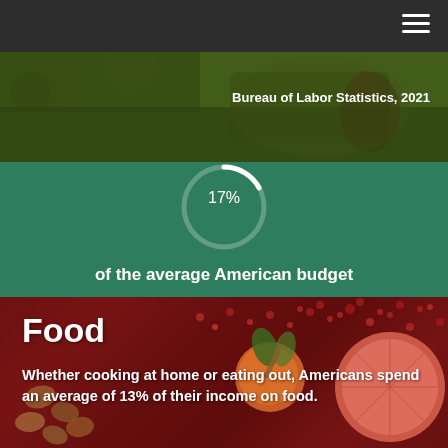Bureau of Labor Statistics, 2021
[Figure (donut-chart): 17% of the average American budget]
of the average American budget
Food
Whether cooking at home or eating out, Americans spend an average of 13% of their income on food.